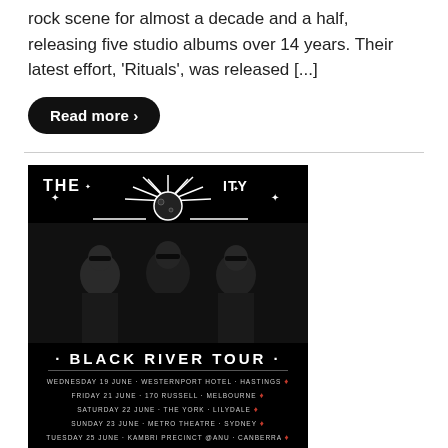rock scene for almost a decade and a half, releasing five studio albums over 14 years. Their latest effort, 'Rituals', was released [...]
Read more ›
[Figure (photo): Concert tour promotional poster for 'Black River Tour'. Shows three band members in dark clothing against a black background with a moon/starburst graphic at top. Tour dates listed: Wednesday 19 June - Westernport Hotel - Hastings, Friday 21 June - 170 Russell - Melbourne, Saturday 22 June - The York - Lilydale, Sunday 23 June - Metro Theatre - Sydney, Tuesday 25 June - Kambri Precinct @ANU - Canberra, Wednesday 26 June - Nex Theatre - Newcastle, Friday 28 June - Coolangatta Hotel - Gold Coast, Saturday 29 June - Valley Drive In - Brisbane, Sunday 30 June - HQ - Adelaide]